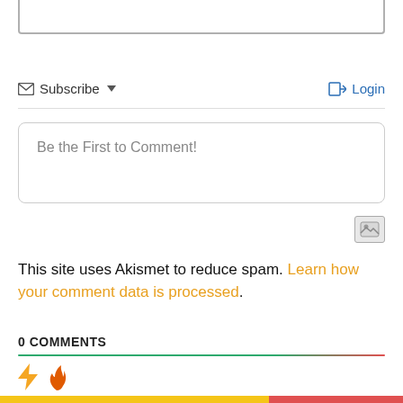[Figure (screenshot): Top portion of a text input box (bottom border visible), partially cropped at the top of the page]
Subscribe ▾   Login
Be the First to Comment!
[Figure (screenshot): Image upload icon button (small grey square with image symbol)]
This site uses Akismet to reduce spam. Learn how your comment data is processed.
0 COMMENTS
[Figure (screenshot): Lightning bolt icon (yellow/orange) and flame icon (orange/red) — comment sorting/reaction icons]